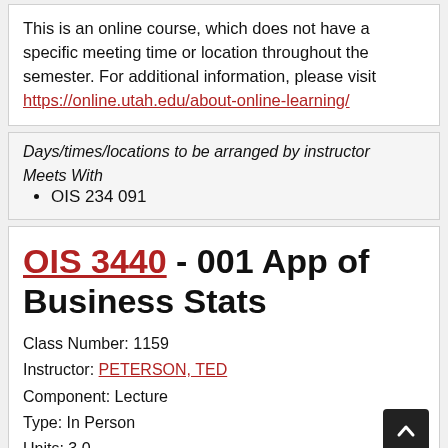This is an online course, which does not have a specific meeting time or location throughout the semester. For additional information, please visit https://online.utah.edu/about-online-learning/
Days/times/locations to be arranged by instructor
Meets With
OIS 234 091
OIS 3440 - 001 App of Business Stats
Class Number: 1159
Instructor: PETERSON, TED
Component: Lecture
Type: In Person
Units: 3.0